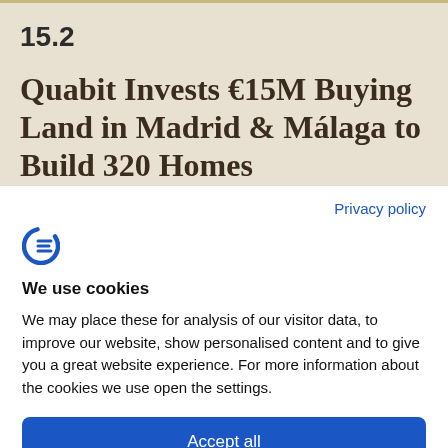15.2
Quabit Invests €15M Buying Land in Madrid & Málaga to Build 320 Homes
Privacy policy
[Figure (logo): Cookiebot logo — stylized letter C in blue]
We use cookies
We may place these for analysis of our visitor data, to improve our website, show personalised content and to give you a great website experience. For more information about the cookies we use open the settings.
Accept all
Deny
No, adjust